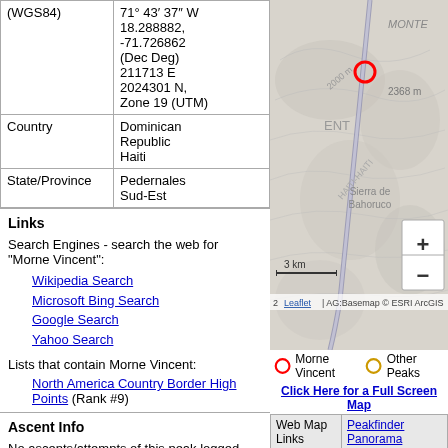|  |  |
| --- | --- |
| (WGS84) | 71° 43′ 37″ W
18.288882, -71.726862 (Dec Deg)
211713 E 2024301 N, Zone 19 (UTM) |
| Country | Dominican Republic
Haiti |
| State/Province | Pedernales
Sud-Est |
Links
Search Engines - search the web for "Morne Vincent":
Wikipedia Search
Microsoft Bing Search
Google Search
Yahoo Search
Lists that contain Morne Vincent:
North America Country Border High Points (Rank #9)
Ascent Info
No ascents/attempts of this peak logged yet.
[Figure (map): Topographic map showing Morne Vincent location on Haiti-Dominican Republic border. Red circle marks the peak. Shows Sierra de Bahoruco, elevation 2368m, road/border line running diagonally. Scale bar shows 3 km. Leaflet | AG:Basemap © ESRI ArcGIS attribution.]
Morne Vincent   Other Peaks
Click Here for a Full Screen Map
| Web Map Links |  |
| --- | --- |
| Web Map Links | Peakfinder Panorama  GeoHack Links  Bing Maps  Google Maps  Open Street Map |